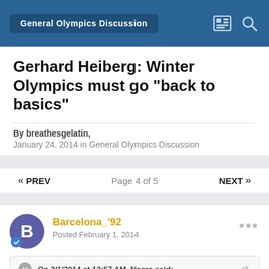General Olympics Discussion
Gerhard Heiberg: Winter Olympics must go "back to basics"
By breathesgelatin,
January 24, 2014 in General Olympics Discussion
« PREV   Page 4 of 5   NEXT »
Barcelona_'92
Posted February 1, 2014
On 2/1/2014 at 12:57 AM, Nacre said:
If they did have the Olympics in a large city would they let